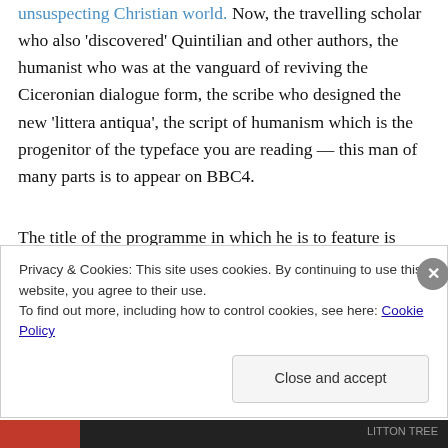unsuspecting Christian world. Now, the travelling scholar who also 'discovered' Quintilian and other authors, the humanist who was at the vanguard of reviving the Ciceronian dialogue form, the scribe who designed the new 'littera antiqua', the script of humanism which is the progenitor of the typeface you are reading — this man of many parts is to appear on BBC4.
The title of the programme in which he is to feature is revealing: 'The World's Oldest Joke'. He is to enter the limelight not because of any of his achievements just mentioned but because he had a fine line in blue humour.
Privacy & Cookies: This site uses cookies. By continuing to use this website, you agree to their use. To find out more, including how to control cookies, see here: Cookie Policy
Close and accept